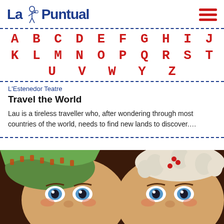La Puntual
A B C D E F G H I J K L M N O P Q R S T U V W Y Z
L'Estenedor Teatre
Travel the World
Lau is a tireless traveller who, after wondering through most countries of the world, needs to find new lands to discover….
[Figure (photo): Close-up of two theatrical puppet or mask faces with elaborate painted features, colorful headdresses, and decorative accessories including red berries. One wears a green patterned headscarf with orange/red design, the other has curly white hair and red berry ornaments.]